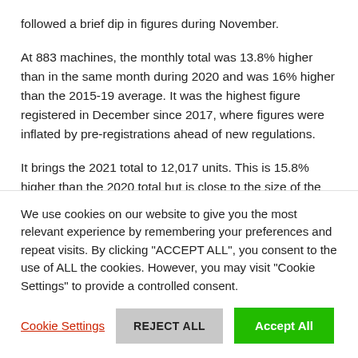followed a brief dip in figures during November.
At 883 machines, the monthly total was 13.8% higher than in the same month during 2020 and was 16% higher than the 2015-19 average. It was the highest figure registered in December since 2017, where figures were inflated by pre-registrations ahead of new regulations.
It brings the 2021 total to 12,017 units. This is 15.8% higher than the 2020 total but is close to the size of the
We use cookies on our website to give you the most relevant experience by remembering your preferences and repeat visits. By clicking "ACCEPT ALL", you consent to the use of ALL the cookies. However, you may visit "Cookie Settings" to provide a controlled consent.